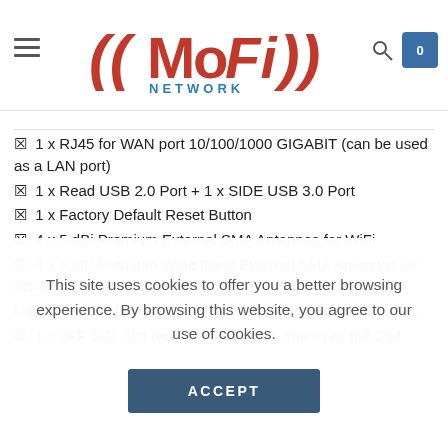MoFi NETWORK
1 x RJ45 for WAN port 10/100/1000 GIGABIT (can be used as a LAN port)
1 x Read USB 2.0 Port + 1 x SIDE USB 3.0 Port
1 x Factory Default Reset Button
4 x 5 dBi Premium External SMA Antennas for WiFi
4 x 5 dBi Premium Wide Band External SMA Antennas for 3G/4G/LTE/5G cellular signal
Note this model uses 4 x Cellular Antennas that are included.
1 x 2FF SIM Slot (full size SIM card). You must get SIM card
This site uses cookies to offer you a better browsing experience. By browsing this website, you agree to our use of cookies.
ACCEPT